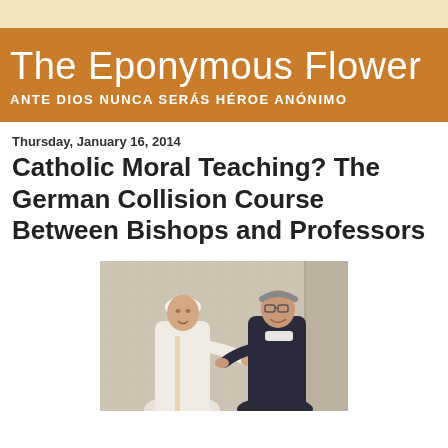The Eponymous Flower
The Eponymous Flower
ANTE DIOS NUNCA SERÁS HÉROE ANÓNIMO
Thursday, January 16, 2014
Catholic Moral Teaching? The German Collision Course Between Bishops and Professors
[Figure (photo): Two men, one in white papal vestments (Pope Francis) on the left, one in dark clerical attire with glasses on the right, shaking hands or greeting each other indoors]